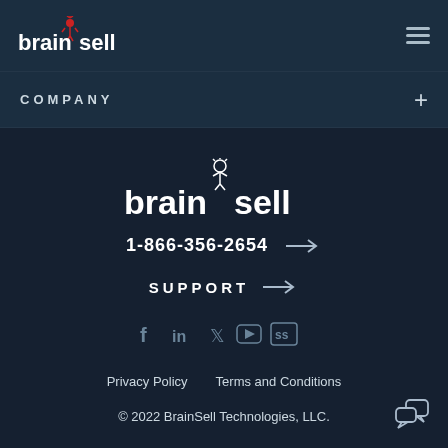brainsell [logo] | hamburger menu
COMPANY +
[Figure (logo): BrainSell logo centered on dark background]
1-866-356-2654 →
SUPPORT →
[Figure (infographic): Social media icons: Facebook, LinkedIn, Twitter, YouTube, SlideShare]
Privacy Policy   Terms and Conditions
© 2022 BrainSell Technologies, LLC.